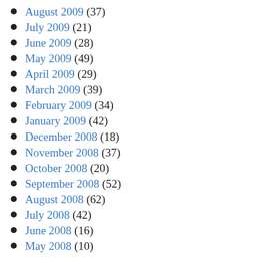August 2009 (37)
July 2009 (21)
June 2009 (28)
May 2009 (49)
April 2009 (29)
March 2009 (39)
February 2009 (34)
January 2009 (42)
December 2008 (18)
November 2008 (37)
October 2008 (20)
September 2008 (52)
August 2008 (62)
July 2008 (42)
June 2008 (16)
May 2008 (10)